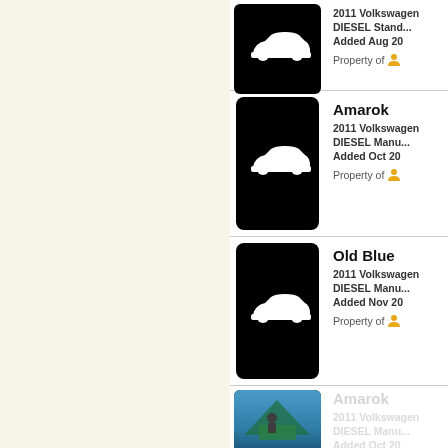2011 Volkswagen DIESEL Standard. Added Aug 20. Property of [user]
Amarok. 2011 Volkswagen DIESEL Manual. Added Oct 20. Property of [user]
Old Blue. 2011 Volkswagen DIESEL Manual. Added Nov 20. Property of [user]
Amarok. 2011 Volkswagen DIESEL Manual. Added Oct 20. Property of [user]